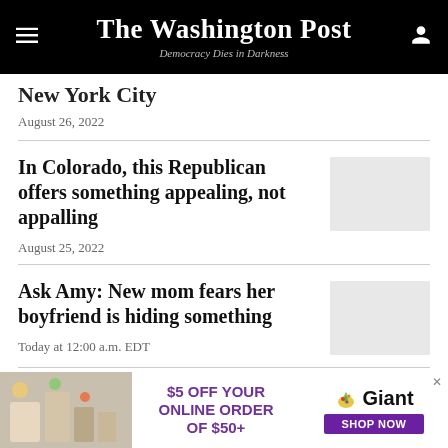The Washington Post — Democracy Dies in Darkness
New York City
August 26, 2022
In Colorado, this Republican offers something appealing, not appalling
August 25, 2022
Ask Amy: New mom fears her boyfriend is hiding something
Today at 12:00 a.m. EDT
[Figure (infographic): Advertisement for Giant: $5 OFF YOUR ONLINE ORDER OF $50+, SHOP NOW]